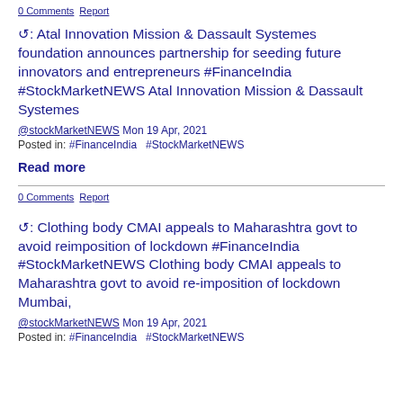0 Comments  Report
↺: Atal Innovation Mission & Dassault Systemes foundation announces partnership for seeding future innovators and entrepreneurs #FinanceIndia #StockMarketNEWS Atal Innovation Mission & Dassault Systemes
@stockMarketNEWS Mon 19 Apr, 2021
Posted in: #FinanceIndia #StockMarketNEWS
Read more
0 Comments  Report
↺: Clothing body CMAI appeals to Maharashtra govt to avoid reimposition of lockdown #FinanceIndia #StockMarketNEWS Clothing body CMAI appeals to Maharashtra govt to avoid re-imposition of lockdown Mumbai,
@stockMarketNEWS Mon 19 Apr, 2021
Posted in: #FinanceIndia #StockMarketNEWS